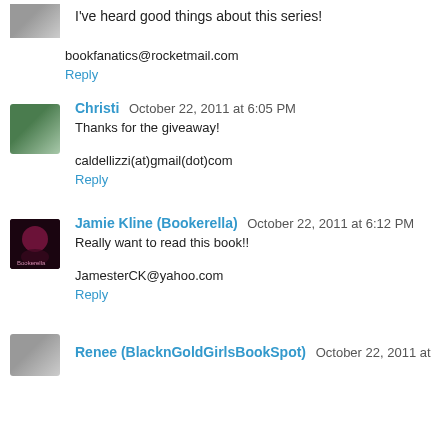I've heard good things about this series!
bookfanatics@rocketmail.com
Reply
Christi  October 22, 2011 at 6:05 PM
Thanks for the giveaway!
caldellizzi(at)gmail(dot)com
Reply
Jamie Kline (Bookerella)  October 22, 2011 at 6:12 PM
Really want to read this book!!
JamesterCK@yahoo.com
Reply
Renee (BlacknGoldGirlsBookSpot)  October 22, 2011 at